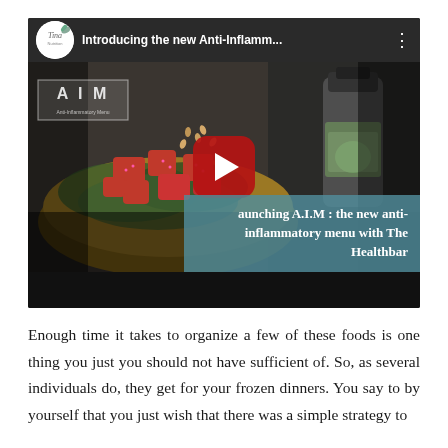[Figure (screenshot): YouTube video thumbnail showing a bowl with strawberries and greens, a green smoothie bottle, with title 'Introducing the new Anti-Inflamm...' and overlay text 'launching A.I.M : the new anti-inflammatory menu with The Healthbar'. Has a red play button in center and AIM logo overlay.]
Enough time it takes to organize a few of these foods is one thing you just you should not have sufficient of. So, as several individuals do, they get for your frozen dinners. You say to by yourself that you just wish that there was a simple strategy to